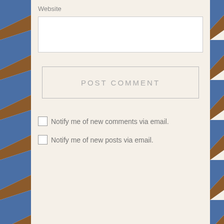Website
POST COMMENT
Notify me of new comments via email.
Notify me of new posts via email.
Archives
September 2018
January 2018